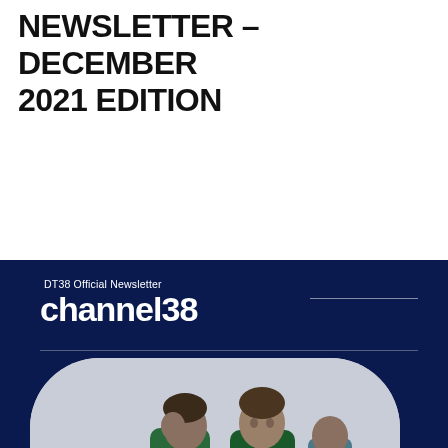NEWSLETTER – DECEMBER 2021 EDITION
[Figure (illustration): DT38 Official Newsletter channel38 cover image with dark navy background, photo of young men in green/gold Australian soccer jerseys, December 2021 circle badge, DT38 logos at bottom, and holly decoration]
December 2021